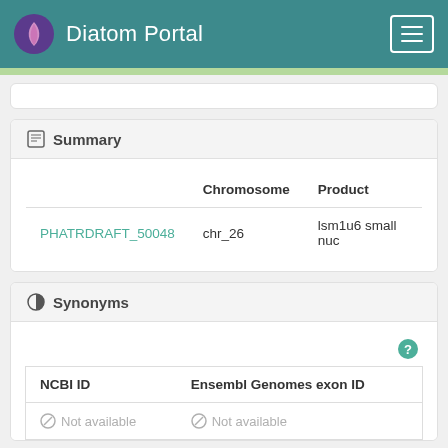Diatom Portal
Summary
|  | Chromosome | Product |
| --- | --- | --- |
| PHATRDRAFT_50048 | chr_26 | lsm1u6 small nuc |
Synonyms
| NCBI ID | Ensembl Genomes exon ID |
| --- | --- |
| Not available | Not available |